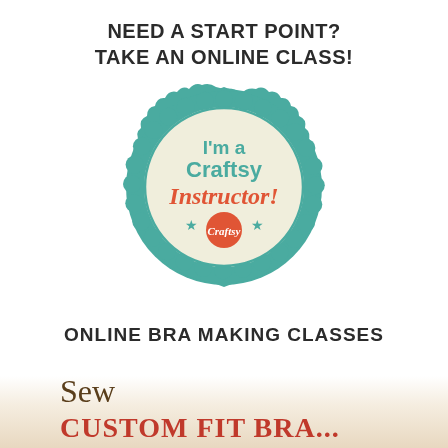NEED A START POINT?
TAKE AN ONLINE CLASS!
[Figure (logo): Craftsy Instructor badge: teal scalloped circle with cream interior, text 'I'm a Craftsy Instructor!' with orange Craftsy logo and star decorations]
ONLINE BRA MAKING CLASSES
Sew
CUSTOM FIT BRA...